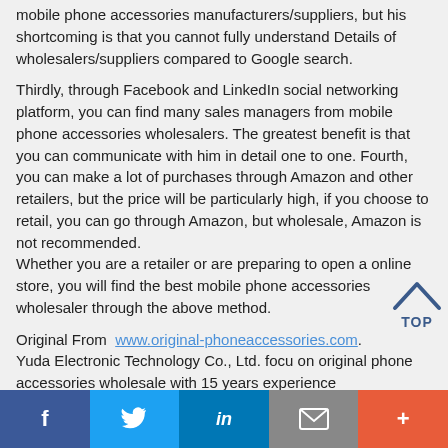mobile phone accessories manufacturers/suppliers, but his shortcoming is that you cannot fully understand Details of wholesalers/suppliers compared to Google search.
Thirdly, through Facebook and LinkedIn social networking platform, you can find many sales managers from mobile phone accessories wholesalers. The greatest benefit is that you can communicate with him in detail one to one. Fourth, you can make a lot of purchases through Amazon and other retailers, but the price will be particularly high, if you choose to retail, you can go through Amazon, but wholesale, Amazon is not recommended. Whether you are a retailer or are preparing to open a online store, you will find the best mobile phone accessories wholesaler through the above method.
Original From  www.original-phoneaccessories.com. Yuda Electronic Technology Co., Ltd. focu on original phone accessories wholesale with 15 years experience
[Figure (other): TOP button with upward arrow chevron in blue outline style]
Social share bar with Facebook, Twitter, LinkedIn, Email, and More buttons